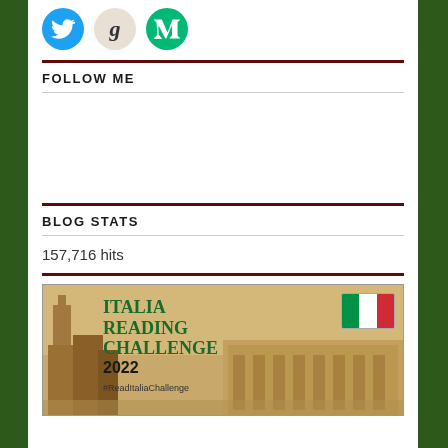[Figure (illustration): Three social media icon circles: Twitter (blue bird), Goodreads (grey with 'g'), Medium (green with 'M' logo)]
FOLLOW ME
BLOG STATS
157,716 hits
[Figure (illustration): Italia Reading Challenge 2022 banner with Venice architecture background, Italian flag, green text 'ITALIA READING CHALLENGE 2022', hashtag #ReadItaliaChallenge]